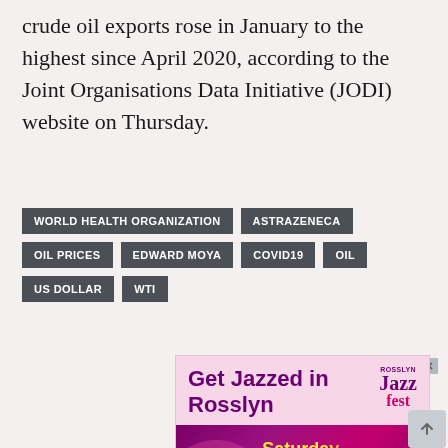crude oil exports rose in January to the highest since April 2020, according to the Joint Organisations Data Initiative (JODI) website on Thursday.
WORLD HEALTH ORGANIZATION
ASTRAZENECA
OIL PRICES
EDWARD MOYA
COVID19
OIL
US DOLLAR
WTI
[Figure (screenshot): Advertisement for Rosslyn Jazz Fest. Pink/lavender background with bold purple text 'Get Jazzed in Rosslyn' and Rosslyn Jazz Fest logo. Below, a dark magenta/purple banner shows 'Saturday, September 10' in yellow bold text and 'READY TO GROOVE' partially visible.]